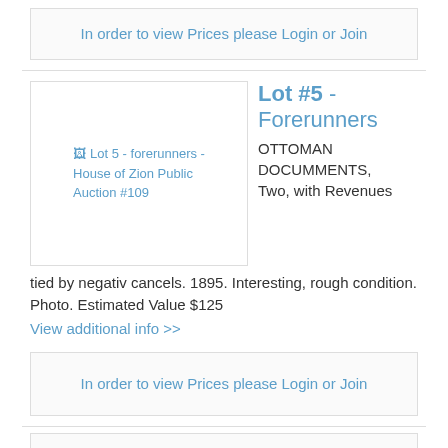In order to view Prices please Login or Join
[Figure (other): Broken image placeholder for Lot 5 - forerunners - House of Zion Public Auction #109]
Lot #5 - Forerunners
OTTOMAN DOCUMMENTS, Two, with Revenues tied by negativ cancels. 1895. Interesting, rough condition. Photo. Estimated Value $125
View additional info >>
In order to view Prices please Login or Join